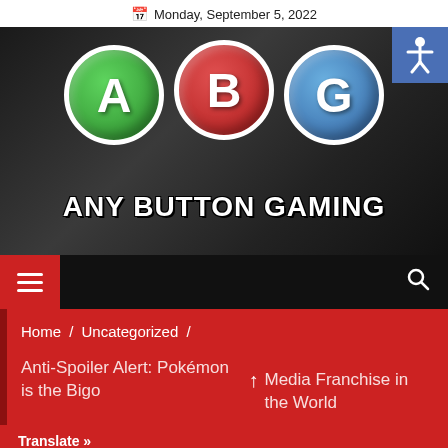Monday, September 5, 2022
[Figure (logo): Any Button Gaming website banner with ABG logo circles (A in green, B in red, G in blue) and text 'ANY BUTTON GAMING' on a dark background]
≡   🔍
Home / Uncategorized / Anti-Spoiler Alert: Pokémon is the Biggest Media Franchise in the World
Translate »